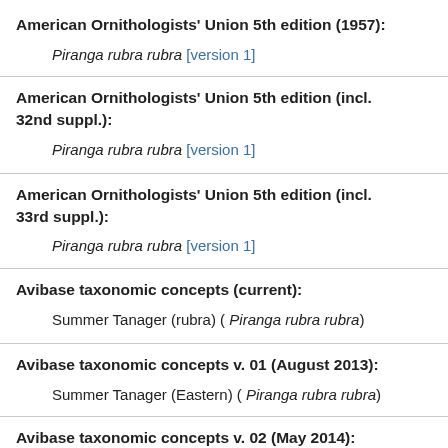American Ornithologists' Union 5th edition (1957):
Piranga rubra rubra [version 1]
American Ornithologists' Union 5th edition (incl. 32nd suppl.):
Piranga rubra rubra [version 1]
American Ornithologists' Union 5th edition (incl. 33rd suppl.):
Piranga rubra rubra [version 1]
Avibase taxonomic concepts (current):
Summer Tanager (rubra) ( Piranga rubra rubra)
Avibase taxonomic concepts v. 01 (August 2013):
Summer Tanager (Eastern) ( Piranga rubra rubra)
Avibase taxonomic concepts v. 02 (May 2014):